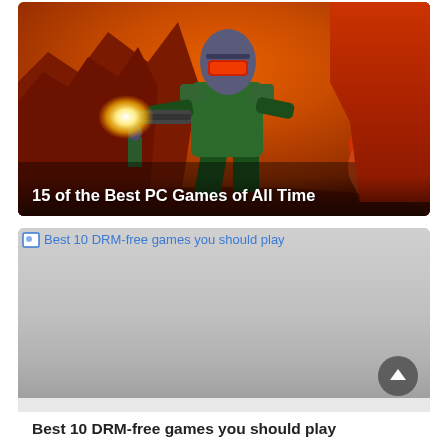[Figure (photo): Promotional artwork for DOOM game showing the Doomguy in green armor holding a gun with muzzle flash, against a fiery orange-red hellish background with rocky formations]
15 of the Best PC Games of All Time
[Figure (photo): Broken/missing image placeholder shown as gray gradient rectangle with small broken image icon in top-left corner and blue alt text link reading 'Best 10 DRM-free games you should play']
Best 10 DRM-free games you should play